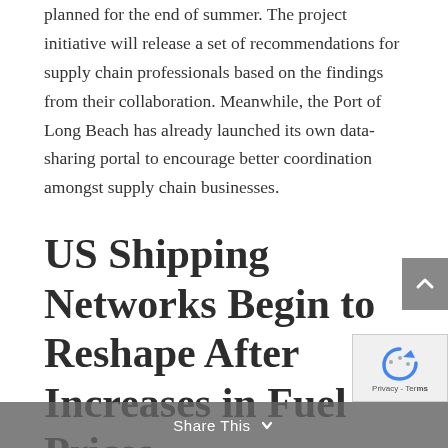planned for the end of summer. The project initiative will release a set of recommendations for supply chain professionals based on the findings from their collaboration. Meanwhile, the Port of Long Beach has already launched its own data-sharing portal to encourage better coordination amongst supply chain businesses.
US Shipping Networks Begin to Reshape After Increases in Fuel Prices
Share This